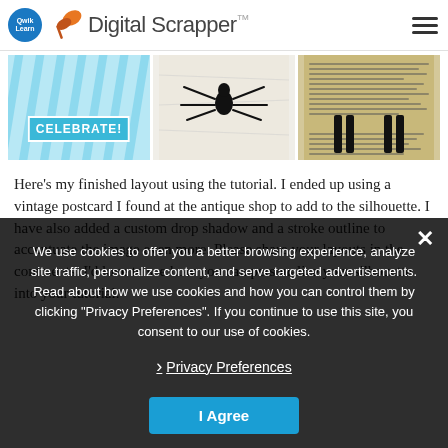Digital Scrapper
[Figure (screenshot): Three thumbnail images: 1) blue rays background with 'CELEBRATE!' text banner, 2) black spider on white crinkled paper, 3) vintage postcard with silhouette figures]
Here’s my finished layout using the tutorial. I ended up using a vintage postcard I found at the antique shop to add to the silhouette. I have also added a custom drop shadow and a stroke outline to accentuate the image even more. Please share your layouts in the comments. I’d love to see how you can personalize your silhouette into your tutorial.
We use cookies to offer you a better browsing experience, analyze site traffic, personalize content, and serve targeted advertisements. Read about how we use cookies and how you can control them by clicking “Privacy Preferences”. If you continue to use this site, you consent to our use of cookies.
› Privacy Preferences
I Agree